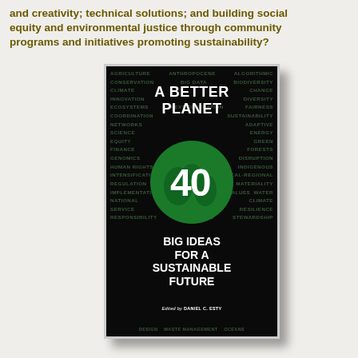and creativity; technical solutions; and building social equity and environmental justice through community programs and initiatives promoting sustainability?
[Figure (illustration): Book cover of 'A Better Planet: 40 Big Ideas for a Sustainable Future' edited by Daniel C. Esty. Black cover with green keyword wordcloud background, globe illustration with '40' text, white bold title text.]